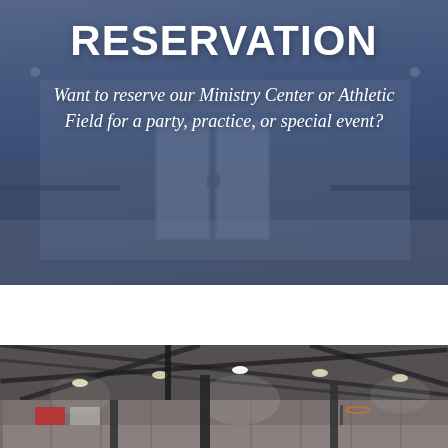[Figure (photo): Photo of a building entrance/glass doors with a blue overlay tint, serving as background for the hero section]
RESERVATION
Want to reserve our Ministry Center or Athletic Field for a party, practice, or special event?
[Figure (photo): Interior photo of a gymnasium/athletic facility with metal roof trusses, LED overhead lights, and basketball hoops visible]